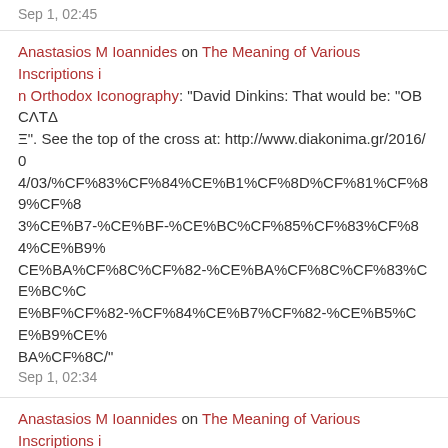Sep 1, 02:45
Anastasios M Ioannides on The Meaning of Various Inscriptions in Orthodox Iconography: "David Dinkins: That would be: "OBCΛTΔΞ". See the top of the cross at: http://www.diakonima.gr/2016/04/03/%CF%83%CF%84%CE%B1%CF%8D%CF%81%CF%89%CF%83%CE%B7-%CE%BF-%CE%BC%CF%85%CF%83%CF%84%CE%B9%CE%BA%CF%8C%CF%82-%CE%BA%CF%8C%CF%83%CE%BC%CE%BF%CF%82-%CF%84%CE%B7%CF%82-%CE%B5%CE%B9%CE%BA%CF%8C/"
Sep 1, 02:34
Anastasios M Ioannides on The Meaning of Various Inscriptions in Orthodox Iconography: "Anthony Henin: That is "Η ΠΑΝΑΧΡΑΝΤΟΣ", "The Most Immaculate". The odd spacings are dictated by the presence and shape of..."
Sep 1, 02:23
Anastasios M Ioannides on The Meaning of Various Inscriptions in Orthodox Iconography: "Edith M Humphrey: That is "Ο ΑΓΙΟΣ ΓΡΗΓΟΡΙΟΣ Ο ΠΑΛΑΜΑΣ", "[The] Saint Gregory [the] Palamas". The "h"s are breathing signs..."